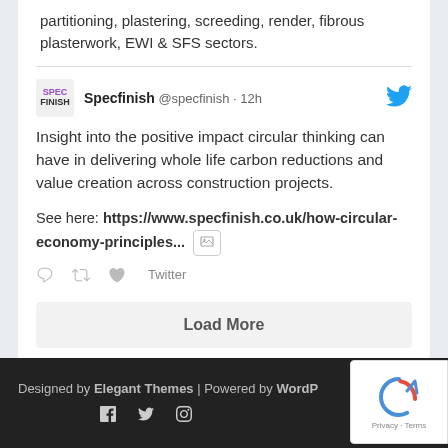partitioning, plastering, screeding, render, fibrous plasterwork, EWI & SFS sectors.
[Figure (screenshot): Tweet from @specfinish account, 12h ago, with Twitter bird icon, Specfinish logo, tweet text about circular thinking and whole life carbon reductions, link to specfinish.co.uk, image icon, and action icons (reply, retweet, like) with Twitter label]
Load More
Designed by Elegant Themes | Powered by WordP